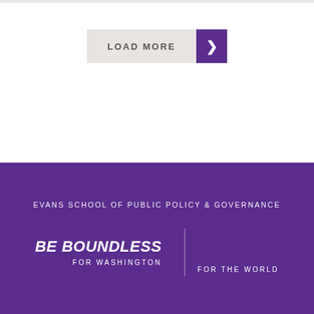[Figure (screenshot): A 'LOAD MORE' button with beige/tan text area and purple arrow chevron on the right, on a white background.]
EVANS SCHOOL OF PUBLIC POLICY & GOVERNANCE
BE BOUNDLESS FOR WASHINGTON FOR THE WORLD